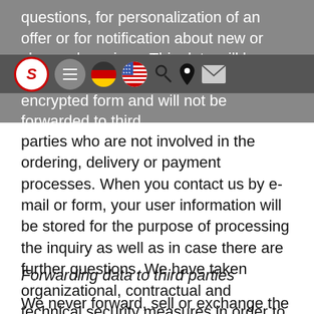questions, for personalization of an offer or for notification about new or changed services. This data will be treated confidentially, transferred in encrypted form and will not be forwarded to third
parties who are not involved in the ordering, delivery or payment processes. When you contact us by e-mail or form, your user information will be stored for the purpose of processing the inquiry as well as in case there are further questions. We have taken organizational, contractual and technical security measures in order to ensure that the regulations of data protection laws are complied with and to prevent random or intentional manipulation, loss, destruction or access by unauthorized persons.
Forwarding data to third parties
We never forward, sell or exchange the data of the